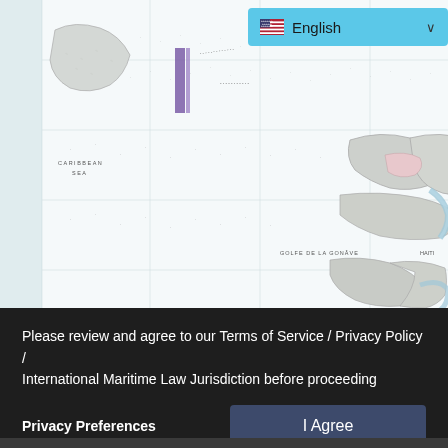[Figure (map): Nautical chart showing coastal waters, likely Caribbean Sea area with Haiti/Caribbean landmasses visible. Chart shows depth soundings (dotted patterns), coastlines in gray, blue water channels, and navigation grid lines. A purple/violet rectangular marker is visible in the upper-left portion.]
English (language selector dropdown with US flag)
Please review and agree to our Terms of Service / Privacy Policy / International Maritime Law Jurisdiction before proceeding
Privacy Preferences
I Agree